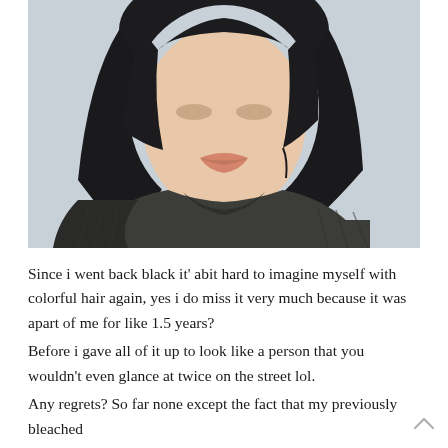[Figure (photo): Close-up portrait photo of a young Asian person with a short black bob haircut, light skin, wearing a dark olive/charcoal ribbed crewneck sweatshirt. The background is light grey/blue-grey. The photo is cropped from the forehead to the chest area.]
Since i went back black it' abit hard to imagine myself with colorful hair again, yes i do miss it very much because it was apart of me for like 1.5 years?
Before i gave all of it up to look like a person that you wouldn't even glance at twice on the street lol.
Any regrets? So far none except the fact that my previously bleached